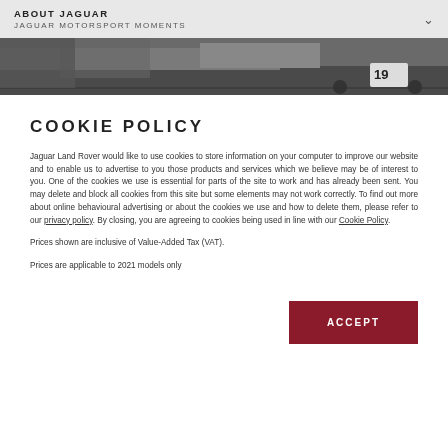ABOUT JAGUAR
JAGUAR MOTORSPORT MOMENTS
[Figure (photo): Black and white photo of a Jaguar racing car on a track, number 19 visible on the car.]
COOKIE POLICY
Jaguar Land Rover would like to use cookies to store information on your computer to improve our website and to enable us to advertise to you those products and services which we believe may be of interest to you. One of the cookies we use is essential for parts of the site to work and has already been sent. You may delete and block all cookies from this site but some elements may not work correctly. To find out more about online behavioural advertising or about the cookies we use and how to delete them, please refer to our privacy policy. By closing, you are agreeing to cookies being used in line with our Cookie Policy.
Prices shown are inclusive of Value-Added Tax (VAT).
Prices are applicable to 2021 models only
ACCEPT